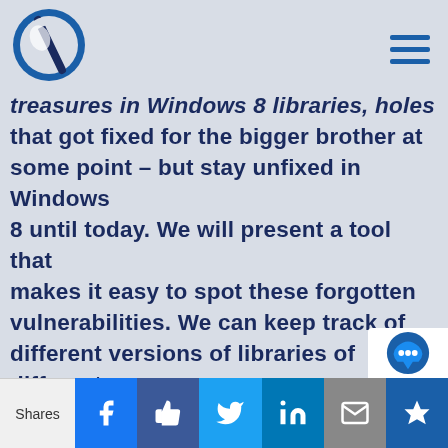[Logo] [Hamburger menu]
treasures in Windows 8 libraries, holes that got fixed for the bigger brother at some point – but stay unfixed in Windows 8 until today. We will present a tool that makes it easy to spot these forgotten vulnerabilities. We can keep track of different versions of libraries of different operating systems and automate the analysis process of a big file set. The focus lies on safe functions, which indicate a potential weakness when missing. The tool we show is flexible
Shares | Facebook | Like | Twitter | LinkedIn | Email | [extra]